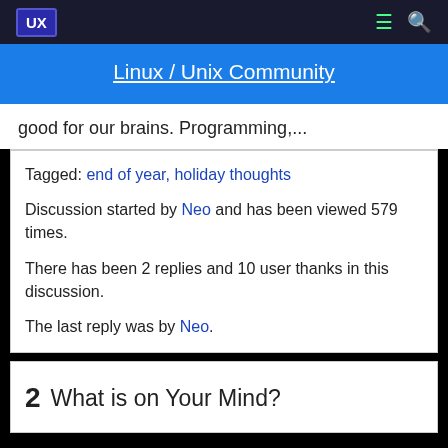UX | Linux / Unix Community
good for our brains. Programming,...
Tagged: end of year, holiday thoughts
Discussion started by Neo and has been viewed 579 times.
There has been 2 replies and 10 user thanks in this discussion.
The last reply was by Neo.
2  What is on Your Mind?